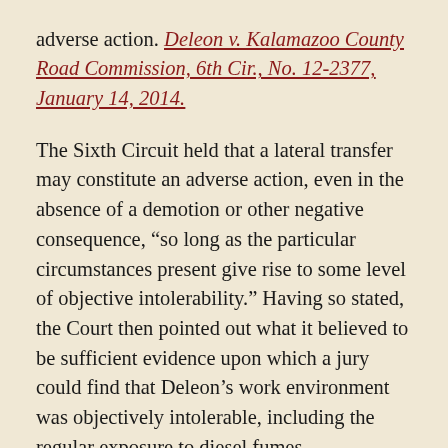adverse action. Deleon v. Kalamazoo County Road Commission, 6th Cir., No. 12-2377, January 14, 2014.
The Sixth Circuit held that a lateral transfer may constitute an adverse action, even in the absence of a demotion or other negative consequence, “so long as the particular circumstances present give rise to some level of objective intolerability.” Having so stated, the Court then pointed out what it believed to be sufficient evidence upon which a jury could find that Deleon’s work environment was objectively intolerable, including the regular exposure to diesel fumes.
The Court did not make a final determination that Deleon’s transfer to the position for which he initially applied was an adverse action – it simply said that a jury ultimately would have to make that decision. The Sixth Circuit, however, did categorically refuse to state that a plaintiff’s initial request to obtain a position precludes that individual from subsequently alleging that he suffered a materially adverse action, as serving in the obtained position is adverse.